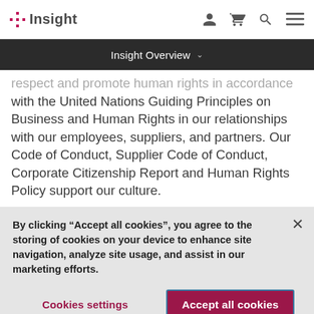Insight
Insight Overview
respect and promote human rights in accordance with the United Nations Guiding Principles on Business and Human Rights in our relationships with our employees, suppliers, and partners. Our Code of Conduct, Supplier Code of Conduct, Corporate Citizenship Report and Human Rights Policy support our culture.
By clicking “Accept all cookies”, you agree to the storing of cookies on your device to enhance site navigation, analyze site usage, and assist in our marketing efforts.